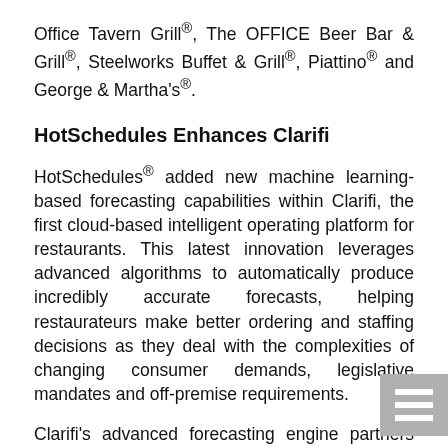Office Tavern Grill®, The OFFICE Beer Bar & Grill®, Steelworks Buffet & Grill®, Piattino® and George & Martha's®.
HotSchedules Enhances Clarifi
HotSchedules® added new machine learning-based forecasting capabilities within Clarifi, the first cloud-based intelligent operating platform for restaurants. This latest innovation leverages advanced algorithms to automatically produce incredibly accurate forecasts, helping restaurateurs make better ordering and staffing decisions as they deal with the complexities of changing consumer demands, legislative mandates and off-premise requirements.
Clarifi's advanced forecasting engine partners the manager with the machine. The machine offers raw,